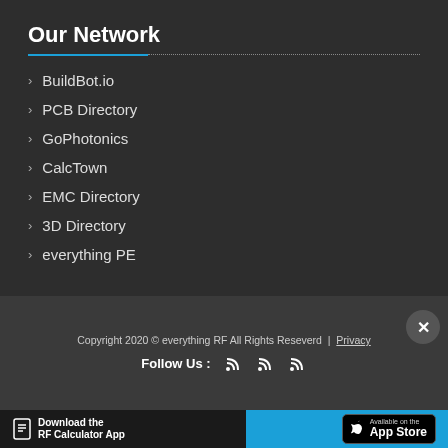Our Network
BuildBot.io
PCB Directory
GoPhotonics
CalcTown
EMC Directory
3D Directory
everything PE
Copyright 2020 © everything RF All Rights Reseverd  |  Privacy
Follow Us :
[Figure (infographic): Download the RF Calculator App — Available on the App Store banner]
×